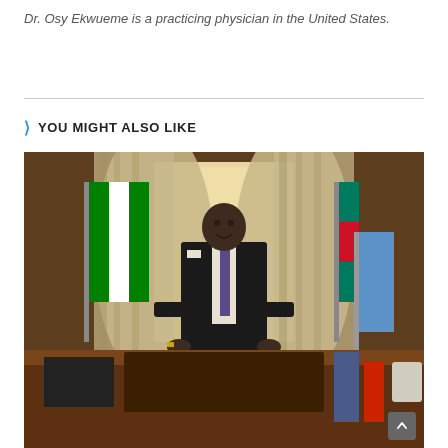Dr. Osy Ekwueme is a practicing physician in the United States.
YOU MIGHT ALSO LIKE
[Figure (photo): A man in a dark suit and tie stands smiling behind a large wooden desk in an official-looking office. Behind him are curtains, a window with light, and flags including the Nigerian flag (green-white-green) on the left and other flags on the right. The room has dark wood paneling. On the desk are documents and items. A telephone is visible on the right side.]